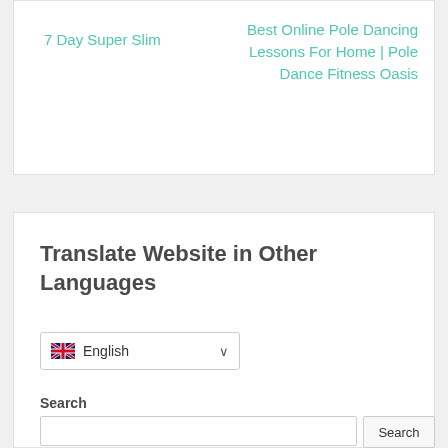7 Day Super Slim
Best Online Pole Dancing Lessons For Home | Pole Dance Fitness Oasis
Translate Website in Other Languages
[Figure (screenshot): Language dropdown selector showing UK flag and 'English' with a chevron arrow]
Search
[Figure (screenshot): Search input box and Search button partially visible at bottom]